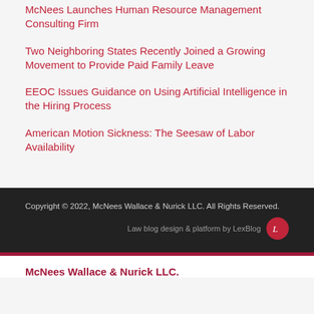McNees Launches Human Resource Management Consulting Firm
Two Neighboring States Recently Joined a Growing Movement to Provide Paid Family Leave
EEOC Issues Guidance on Using Artificial Intelligence in the Hiring Process
American Motion Sickness: The Seesaw of Labor Availability
Copyright © 2022, McNees Wallace & Nurick LLC. All Rights Reserved.
Law blog design & platform by LexBlog
McNees Wallace & Nurick LLC.